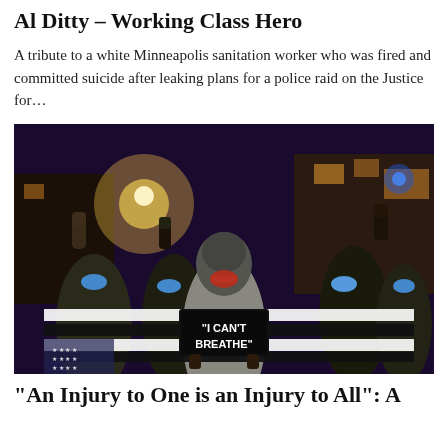Al Ditty – Working Class Hero
A tribute to a white Minneapolis sanitation worker who was fired and committed suicide after leaking plans for a police raid on the Justice for…
[Figure (photo): Night-time protest photo showing a crowd of people wearing face masks with fists raised, holding a modified black-and-white American flag and a sign reading "I CAN'T BREATHE". Urban street scene with lit storefronts in the background.]
“An Injury to One is an Injury to All”: A